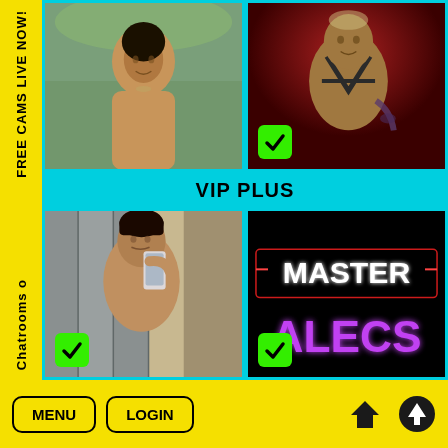FREE CAMS LIVE NOW!
[Figure (photo): Shirtless dark-haired man in front of a rocky waterfall background]
[Figure (photo): Tattooed man with bleached hair wearing a harness on a dark red background]
VIP PLUS
[Figure (photo): Young muscular man taking a mirror selfie in a gym locker room]
[Figure (photo): Neon sign reading MASTER ALECS on black background]
Chatrooms o
MENU
LOGIN